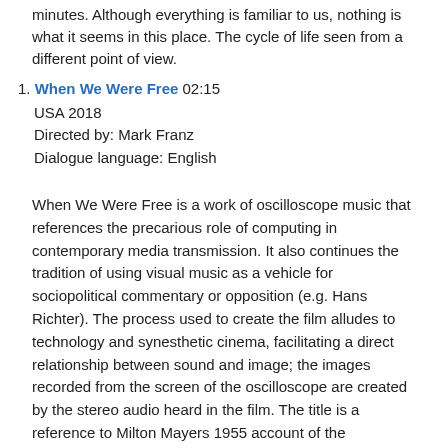minutes. Although everything is familiar to us, nothing is what it seems in this place. The cycle of life seen from a different point of view.
1. When We Were Free 02:15
USA 2018
Directed by: Mark Franz
Dialogue language: English
When We Were Free is a work of oscilloscope music that references the precarious role of computing in contemporary media transmission. It also continues the tradition of using visual music as a vehicle for sociopolitical commentary or opposition (e.g. Hans Richter). The process used to create the film alludes to technology and synesthetic cinema, facilitating a direct relationship between sound and image; the images recorded from the screen of the oscilloscope are created by the stereo audio heard in the film. The title is a reference to Milton Mayers 1955 account of the development of fascism in Germany in “They thought they were free.” It is meant to be an open question as much as a statement, not unlike the “what if” questions created by abstraction in other types of visual and poetic work. Additional Information: When We Were Free is a single channel experimental animation, kinetic typographic film, and experimental stereo sound work. Created using LG OS5060A oscilloscope, digital